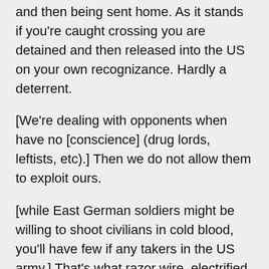and then being sent home. As it stands if you're caught crossing you are detained and then released into the US on your own recognizance. Hardly a deterrent.
[We're dealing with opponents when have no [conscience] (drug lords, leftists, etc).] Then we do not allow them to exploit ours.
[while East German soldiers might be willing to shoot civilians in cold blood, you'll have few if any takers in the US army.] That's what razor wire, electrified fences, obstacles, tear gas, rubber bullets and mines are for. Couple that with harsh tax penalties for employers here in the US who use illegal labor and they will stop coming.